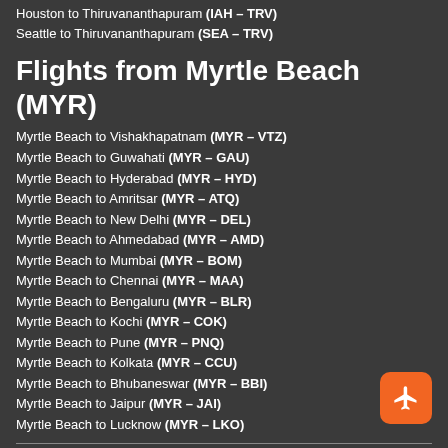Houston to Thiruvananthapuram (IAH - TRV)
Seattle to Thiruvananthapuram (SEA - TRV)
Flights from Myrtle Beach (MYR)
Myrtle Beach to Vishakhapatnam (MYR - VTZ)
Myrtle Beach to Guwahati (MYR - GAU)
Myrtle Beach to Hyderabad (MYR - HYD)
Myrtle Beach to Amritsar (MYR - ATQ)
Myrtle Beach to New Delhi (MYR - DEL)
Myrtle Beach to Ahmedabad (MYR - AMD)
Myrtle Beach to Mumbai (MYR - BOM)
Myrtle Beach to Chennai (MYR - MAA)
Myrtle Beach to Bengaluru (MYR - BLR)
Myrtle Beach to Kochi (MYR - COK)
Myrtle Beach to Pune (MYR - PNQ)
Myrtle Beach to Kolkata (MYR - CCU)
Myrtle Beach to Bhubaneswar (MYR - BBI)
Myrtle Beach to Jaipur (MYR - JAI)
Myrtle Beach to Lucknow (MYR - LKO)
Top International City Pairs